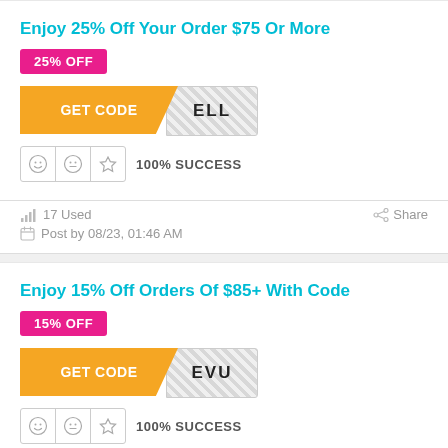Enjoy 25% Off Your Order $75 Or More
25% OFF
GET CODE ELL
100% SUCCESS
17 Used
Share
Post by 08/23, 01:46 AM
Enjoy 15% Off Orders Of $85+ With Code
15% OFF
GET CODE EVU
100% SUCCESS